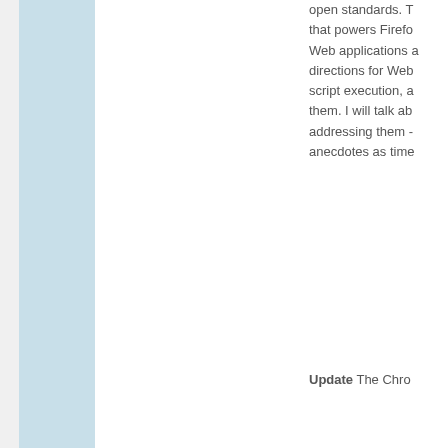open standards. The [engine] that powers Firefox... Web applications a... directions for Web... script execution, a... them. I will talk abo... addressing them -- anecdotes as time...
Update The Chrom...
Posted by Robert at ...
Labels: Chronicle, Mo...
WEDNESDAY, 23 JAN...
Slipping Th...
I argued in my last... puts an extremely... I just don't see the...